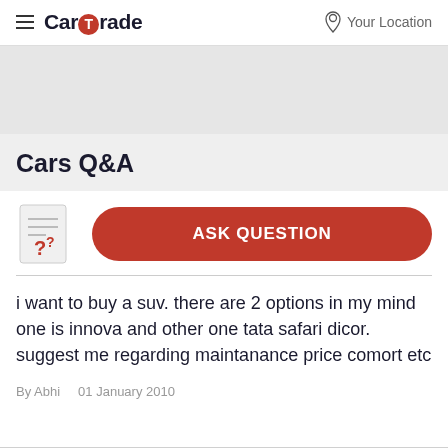CarTrade  Your Location
[Figure (other): Gray advertisement banner placeholder area]
Cars Q&A
[Figure (illustration): Question mark document icon with red question marks]
ASK QUESTION
i want to buy a suv. there are 2 options in my mind one is innova and other one tata safari dicor. suggest me regarding maintanance price comort etc
By Abhi   01 January 2010